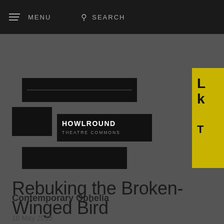MENU   SEARCH
[Figure (logo): HowlRound Theatre Commons logo — stacked black horizontal rectangles with white text 'HOWLROUND THEATRE COMMONS']
Contemporary Ophelia
Rebuking the Broken-Winged Bird
10 May 2015